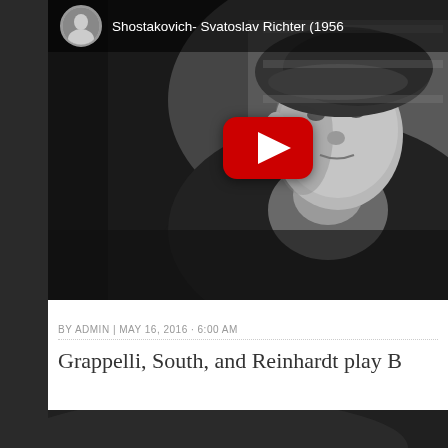[Figure (screenshot): YouTube video thumbnail showing a black-and-white photograph of a man wearing a beret and dark clothing. The video title reads 'Shostakovich- Svatoslav Richter (1956' (truncated). A circular avatar of a man is shown in the top-left corner of the video overlay. A red YouTube play button is centered on the right side of the thumbnail.]
BY ADMIN | MAY 16, 2016 · 6:00 AM
Grappelli, South, and Reinhardt play B
[Figure (screenshot): Bottom portion of a second YouTube video thumbnail, showing a dark background with subtle curved shape, partially visible at the bottom of the page.]